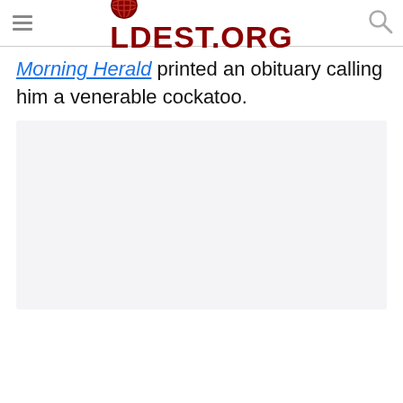OLDEST.ORG
Morning Herald printed an obituary calling him a venerable cockatoo.
[Figure (photo): Large gray placeholder image block below the article text]